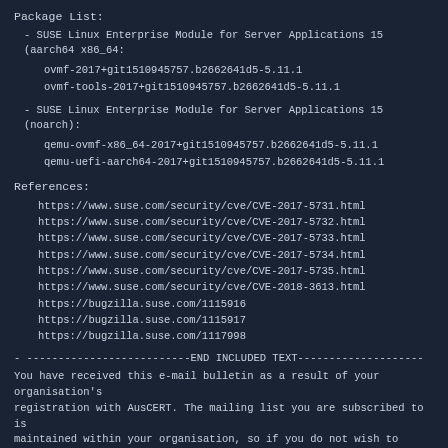Package List:
- SUSE Linux Enterprise Module for Server Applications 15 (aarch64 x86_64):
ovmf-2017+git1510945757.b2662641d5-5.11.1
ovmf-tools-2017+git1510945757.b2662641d5-5.11.1
- SUSE Linux Enterprise Module for Server Applications 15 (noarch):
qemu-ovmf-x86_64-2017+git1510945757.b2662641d5-5.11.1
qemu-uefi-aarch64-2017+git1510945757.b2662641d5-5.11.1
References:
https://www.suse.com/security/cve/CVE-2017-5731.html
https://www.suse.com/security/cve/CVE-2017-5732.html
https://www.suse.com/security/cve/CVE-2017-5733.html
https://www.suse.com/security/cve/CVE-2017-5734.html
https://www.suse.com/security/cve/CVE-2017-5735.html
https://www.suse.com/security/cve/CVE-2018-3613.html
https://bugzilla.suse.com/1115916
https://bugzilla.suse.com/1115917
https://bugzilla.suse.com/1117998
- --------------------------END INCLUDED TEXT--------------------
You have received this e-mail bulletin as a result of your organisation's registration with AusCERT. The mailing list you are subscribed to is maintained within your organisation, so if you do not wish to continue receiving these bulletins you should contact your local IT manager. If you do not know who that is, please send an email to auscert@auscert.org.au